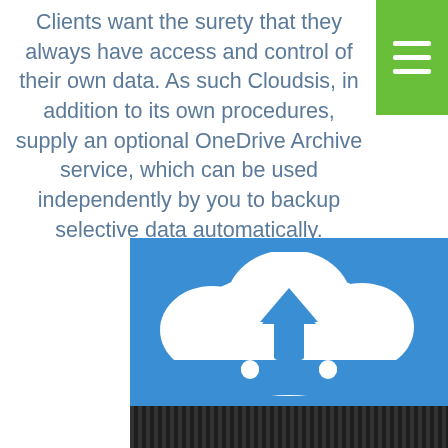Clients want the surety that they always have access and control of their own data. As such Cloudsis, in addition to its own procedures, supply an optional OneDrive Archive service, which can be used independently by you to backup selective data automatically.
[Figure (illustration): OneDrive cloud upload icon — white cloud with upward arrow, on blue background]
We provide you with an Office 365 account, we also give you access to specialist software which ensures that selected folders are automatically transferred from your Cloud Server to your Microsoft account every